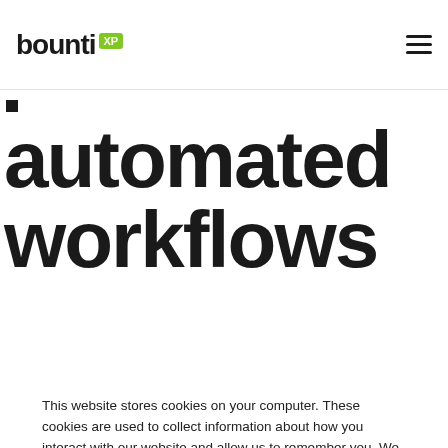bounti XP
automated workflows
Every business differs, but in most cases with a few...
This website stores cookies on your computer. These cookies are used to collect information about how you interact with our website and allow us to remember you. We use this information in order to improve and customize your browsing experience and for analytics and metrics about our visitors both on this website and other media. To find out more about the cookies we use, see our Privacy Policy.
Accept
Don't ask me again